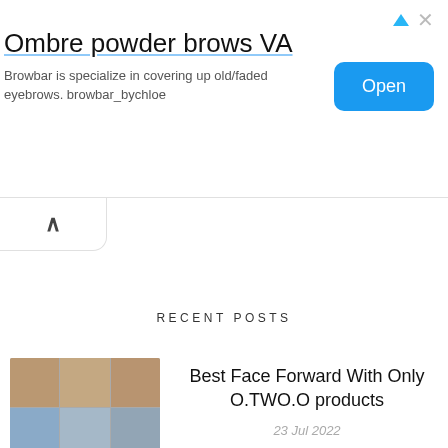[Figure (infographic): Advertisement banner for 'Ombre powder brows VA' by Browbar. Contains title text, description, and an Open button.]
Ombre powder brows VA
Browbar is specialize in covering up old/faded eyebrows. browbar_bychloe
RECENT POSTS
[Figure (photo): 3x3 grid of photos showing women with makeup/beauty looks]
Best Face Forward With Only O.TWO.O products
23 Jul 2022